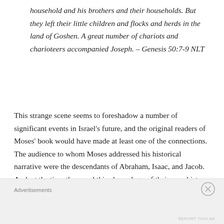household and his brothers and their households. But they left their little children and flocks and herds in the land of Goshen. A great number of chariots and charioteers accompanied Joseph. – Genesis 50:7-9 NLT
This strange scene seems to foreshadow a number of significant events in Israel's future, and the original readers of Moses' book would have made at least one of the connections. The audience to whom Moses addressed his historical narrative were the descendants of Abraham, Isaac, and Jacob. And, at the time they read this chronology of their own history, they were
Advertisements